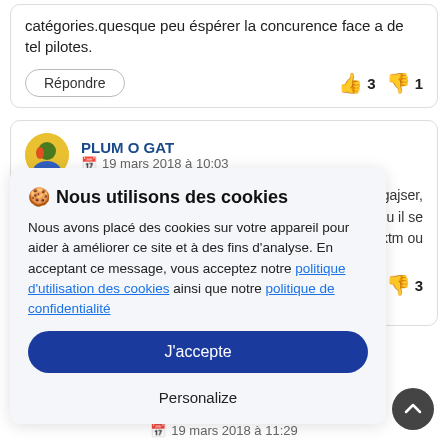catégories.quesque peu éspérer la concurence face a de tel pilotes.
Répondre  👍 3  👎 1
PLUM O GAT
📅 19 mars 2018 à 10:03
🍪 Nous utilisons des cookies  Nous avons placé des cookies sur votre appareil pour aider à améliorer ce site et à des fins d'analyse. En acceptant ce message, vous acceptez notre politique d'utilisation des cookies ainsi que notre politique de confidentialité
J'accepte
Personalize
pour gajser, u il se era ktm ou
👍 6  👎 3
📅 19 mars 2018 à 11:29